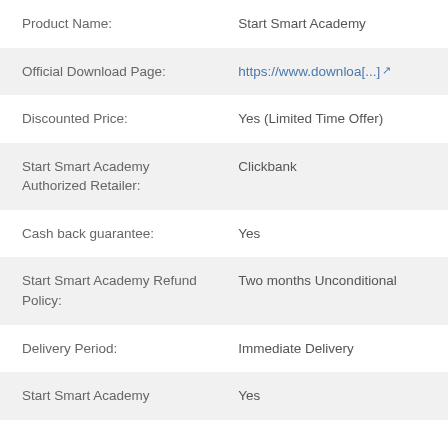| Field | Value |
| --- | --- |
| Product Name: | Start Smart Academy |
| Official Download Page: | https://www.downloa[...] |
| Discounted Price: | Yes (Limited Time Offer) |
| Start Smart Academy Authorized Retailer: | Clickbank |
| Cash back guarantee: | Yes |
| Start Smart Academy Refund Policy: | Two months Unconditional |
| Delivery Period: | Immediate Delivery |
| Start Smart Academy | Yes |